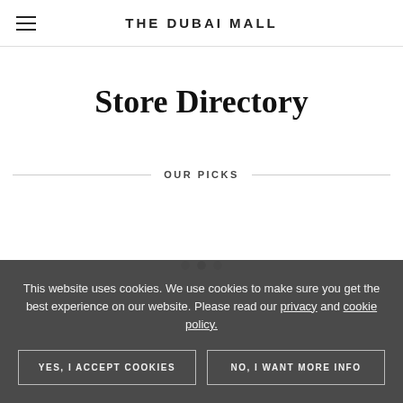THE DUBAI MALL
Store Directory
OUR PICKS
This website uses cookies. We use cookies to make sure you get the best experience on our website. Please read our privacy and cookie policy.
YES, I ACCEPT COOKIES
NO, I WANT MORE INFO